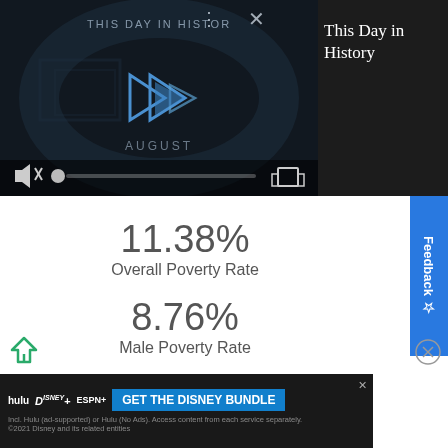[Figure (screenshot): Video player showing 'This Day in History' with play button, mute icon, progress bar, and video controls overlay on dark background]
This Day in History
11.38%
Overall Poverty Rate
8.76%
Male Poverty Rate
13.85%
Female Poverty Rate
[Figure (screenshot): Feedback tab button on right side]
[Figure (screenshot): Disney Bundle advertisement banner at bottom]